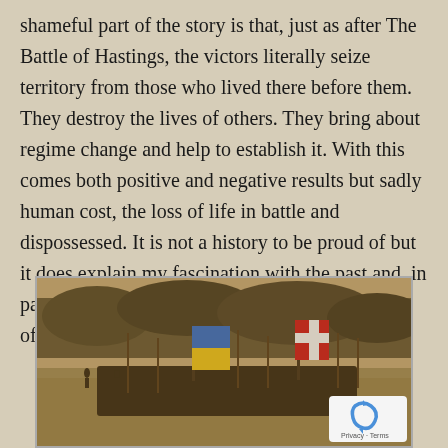shameful part of the story is that, just as after The Battle of Hastings, the victors literally seize territory from those who lived there before them. They destroy the lives of others. They bring about regime change and help to establish it. With this comes both positive and negative results but sadly human cost, the loss of life in battle and dispossessed. It is not a history to be proud of but it does explain my fascination with the past and, in particular, the effect of battles such as The Battle of Hastings on women.
[Figure (photo): Sepia-toned photograph of a historical reenactment showing soldiers or reenactors holding flags and spears in an open field, with trees in the background. Flags include a blue and yellow flag and a red cross flag.]